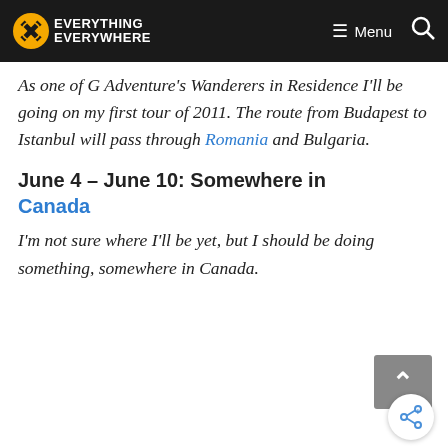Everything Everywhere — Menu
As one of G Adventure's Wanderers in Residence I'll be going on my first tour of 2011. The route from Budapest to Istanbul will pass through Romania and Bulgaria.
June 4 – June 10: Somewhere in Canada
I'm not sure where I'll be yet, but I should be doing something, somewhere in Canada.